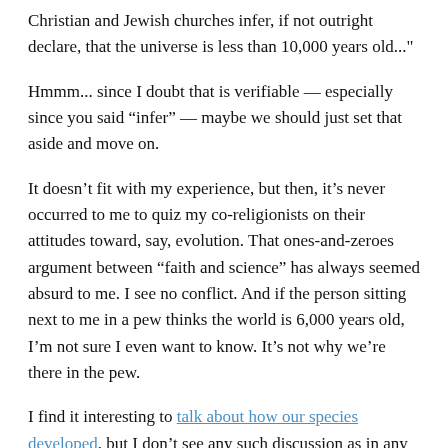Christian and Jewish churches infer, if not outright declare, that the universe is less than 10,000 years old..."
Hmmm... since I doubt that is verifiable — especially since you said “infer” — maybe we should just set that aside and move on.
It doesn’t fit with my experience, but then, it’s never occurred to me to quiz my co-religionists on their attitudes toward, say, evolution. That ones-and-zeroes argument between “faith and science” has always seemed absurd to me. I see no conflict. And if the person sitting next to me in a pew thinks the world is 6,000 years old, I’m not sure I even want to know. It’s not why we’re there in the pew.
I find it interesting to talk about how our species developed, but I don’t see any such discussion as in any way in conflict with faith...